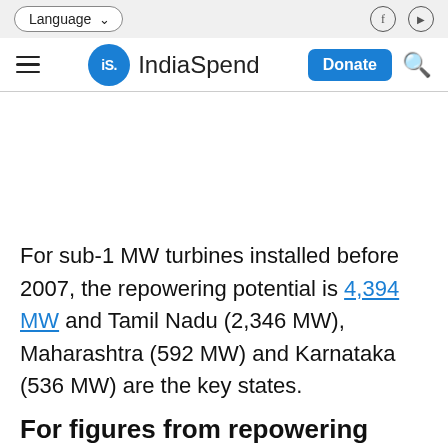Language | [Facebook] [YouTube]
≡ iS. IndiaSpend Donate 🔍
For sub-1 MW turbines installed before 2007, the repowering potential is 4,394 MW and Tamil Nadu (2,346 MW), Maharashtra (592 MW) and Karnataka (536 MW) are the key states.
For figures from repowering